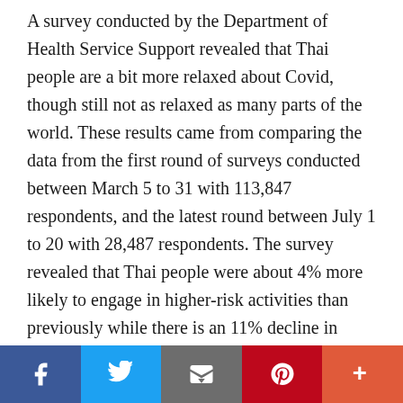A survey conducted by the Department of Health Service Support revealed that Thai people are a bit more relaxed about Covid, though still not as relaxed as many parts of the world. These results came from comparing the data from the first round of surveys conducted between March 5 to 31 with 113,847 respondents, and the latest round between July 1 to 20 with 28,487 respondents. The survey revealed that Thai people were about 4% more likely to engage in higher-risk activities than previously while there is an 11% decline in mask-wearing. The department believes the survey indicates Thai people are engaging in more physical contact due to relaxed social distancing and
[Figure (other): Social sharing bar with Facebook, Twitter, Email, Pinterest, and More buttons]